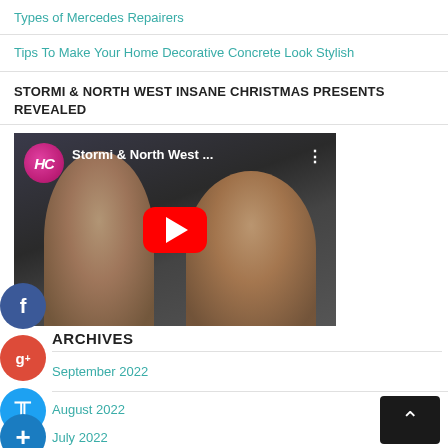Types of Mercedes Repairers
Tips To Make Your Home Decorative Concrete Look Stylish
STORMI & NORTH WEST INSANE CHRISTMAS PRESENTS REVEALED
[Figure (screenshot): Embedded YouTube video thumbnail showing two women/children with HL channel logo and title 'Stormi & North West ...' with red play button]
ARCHIVES
September 2022
August 2022
July 2022